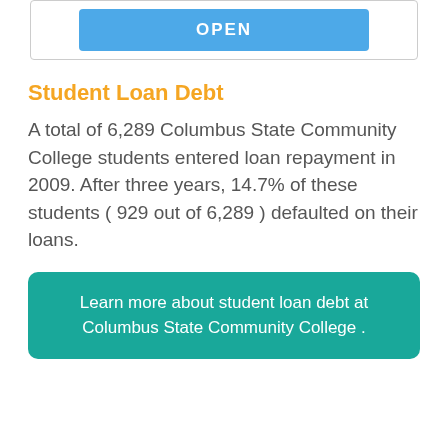[Figure (other): Blue OPEN button inside a bordered box at the top of the page]
Student Loan Debt
A total of 6,289 Columbus State Community College students entered loan repayment in 2009. After three years, 14.7% of these students ( 929 out of 6,289 ) defaulted on their loans.
Learn more about student loan debt at Columbus State Community College .